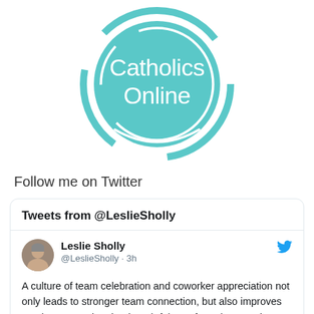[Figure (logo): Catholics Online circular logo in teal/turquoise color with white text reading 'Catholics Online' and decorative circular ring design]
Follow me on Twitter
[Figure (screenshot): Twitter widget showing 'Tweets from @LeslieSholly' header, with a tweet from Leslie Sholly (@LeslieSholly · 3h) with avatar photo, Twitter bird icon, and tweet text: 'A culture of team celebration and coworker appreciation not only leads to stronger team connection, but also improves employee morale. The thoughtfulness from the team is bound to']